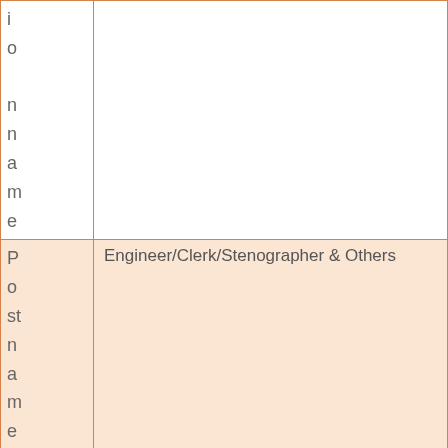| Post name | Post name | Number of Vaca... |
| --- | --- | --- |
| (io name...) |  |  |
| Post name | Engineer/Clerk/Stenographer & Others |  |
| Number of Vaca... | 175 |  |